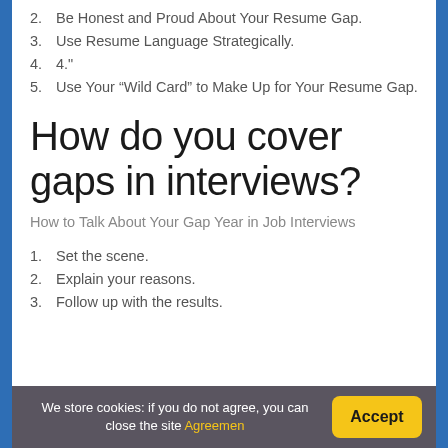2. Be Honest and Proud About Your Resume Gap.
3. Use Resume Language Strategically.
4. 4."
5. Use Your “Wild Card” to Make Up for Your Resume Gap.
How do you cover gaps in interviews?
How to Talk About Your Gap Year in Job Interviews
1. Set the scene.
2. Explain your reasons.
3. Follow up with the results.
We store cookies: if you do not agree, you can close the site Agreemen  Accept